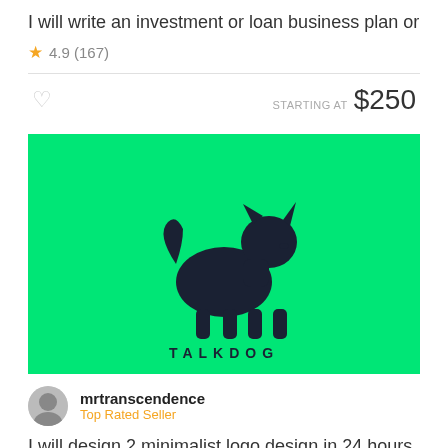I will write an investment or loan business plan or
4.9 (167)
STARTING AT $250
[Figure (logo): Green background with a dark navy blue silhouette of a small dog standing, with the text 'TALKDOG' in spaced letters below]
mrtranscendence
Top Rated Seller
I will design 2 minimalist logo design in 24 hours
4.9 (1k+)